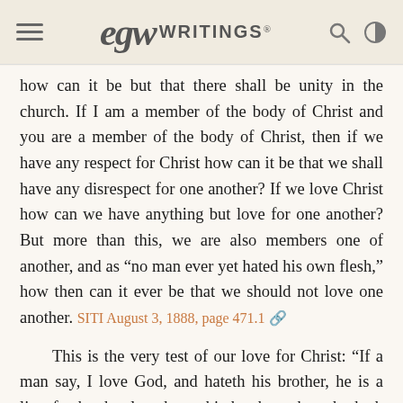EGW Writings®
how can it be but that there shall be unity in the church. If I am a member of the body of Christ and you are a member of the body of Christ, then if we have any respect for Christ how can it be that we shall have any disrespect for one another? If we love Christ how can we have anything but love for one another? But more than this, we are also members one of another, and as “no man ever yet hated his own flesh,” how then can it ever be that we should not love one another. SITI August 3, 1888, page 471.1
This is the very test of our love for Christ: “If a man say, I love God, and hateth his brother, he is a liar; for he that loveth not his brother whom he hath seen, how can he love God whom he hath not seen?” 1 John 4:20. No man can appreciate the love